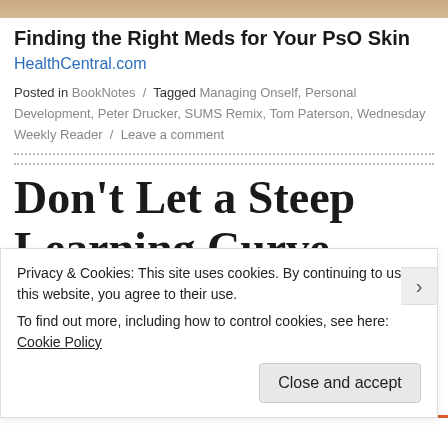[Figure (photo): Top banner image, partially visible, brownish tones]
Finding the Right Meds for Your PsO Skin
HealthCentral.com
Posted in BookNotes / Tagged Managing Onself, Personal Development, Peter Drucker, SUMS Remix, Tom Paterson, Wednesday Weekly Reader / Leave a comment
Don’t Let a Steep Learning Curve
Privacy & Cookies: This site uses cookies. By continuing to use this website, you agree to their use.
To find out more, including how to control cookies, see here: Cookie Policy
Close and accept